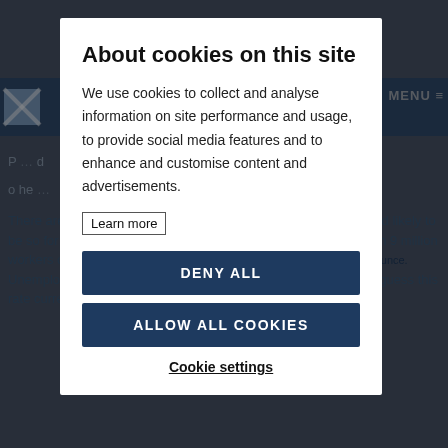About cookies on this site
We use cookies to collect and analyse information on site performance and usage, to provide social media features and to enhance and customise content and advertisements.
Learn more
DENY ALL
ALLOW ALL COOKIES
Cookie settings